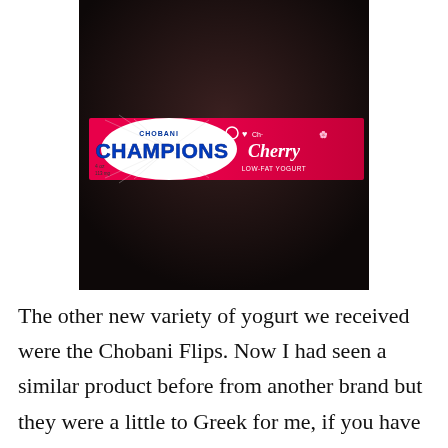[Figure (photo): Photo of a Chobani Champions Cherry low-fat yogurt package. The package is pink and white with the text 'CHOBANI CHAMPIONS' in large blue letters on the left and 'Cherry LOW-FAT YOGURT' on the right. Photo taken in dark lighting on a dark surface.]
The other new variety of yogurt we received were the Chobani Flips. Now I had seen a similar product before from another brand but they were a little to Greek for me, if you have ever had Greek